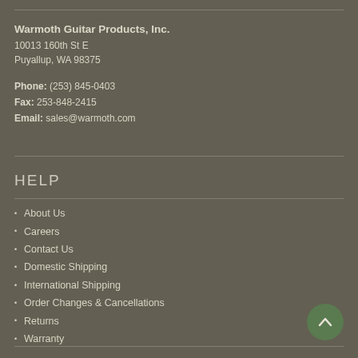Warmoth Guitar Products, Inc.
10013 160th St E
Puyallup, WA 98375
Phone: (253) 845-0403
Fax: 253-848-2415
Email: sales@warmoth.com
HELP
About Us
Careers
Contact Us
Domestic Shipping
International Shipping
Order Changes & Cancellations
Returns
Warranty